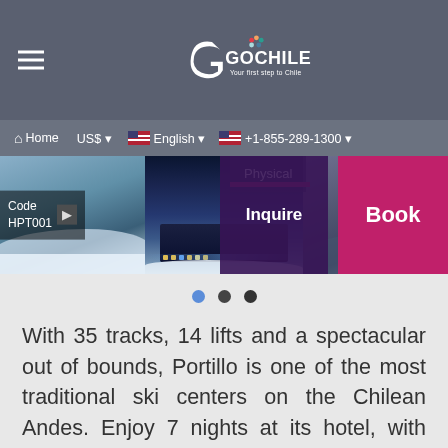GoChile - Your first step to Chile
[Figure (screenshot): Website screenshot showing GoChile travel website with navigation bar, image carousel of ski resort (Portillo), code HPT001, Physical activity label, Inquire and Book buttons, and carousel dots]
With 35 tracks, 14 lifts and a spectacular out of bounds, Portillo is one of the most traditional ski centers on the Chilean Andes. Enjoy 7 nights at its hotel, with included tickets and the most entertaining activities for the whole family.